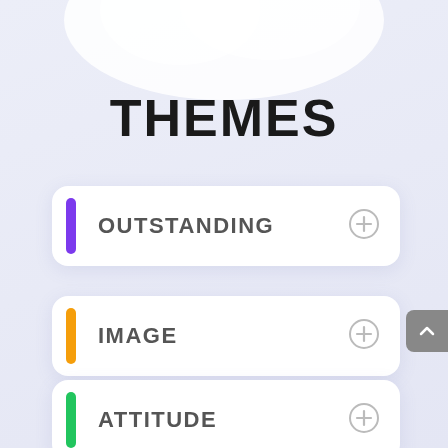[Figure (illustration): White decorative blob shape at top of page]
THEMES
OUTSTANDING
IMAGE
ATTITUDE